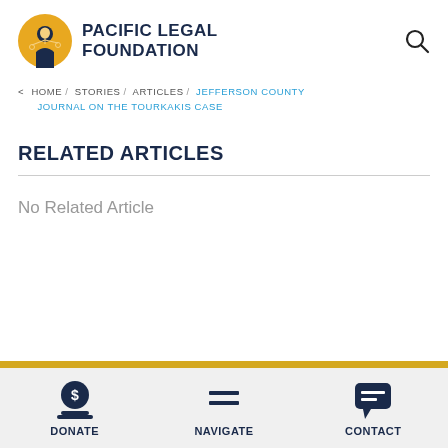[Figure (logo): Pacific Legal Foundation logo: circular yellow badge with figure holding scales of justice, next to bold uppercase text 'PACIFIC LEGAL FOUNDATION']
< HOME / STORIES / ARTICLES / JEFFERSON COUNTY JOURNAL ON THE TOURKAKIS CASE
RELATED ARTICLES
No Related Article
DONATE   NAVIGATE   CONTACT